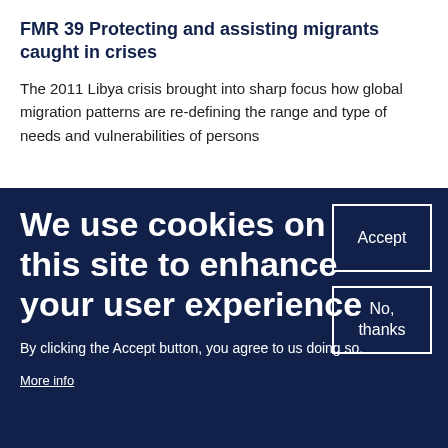FMR 39 Protecting and assisting migrants caught in crises
The 2011 Libya crisis brought into sharp focus how global migration patterns are re-defining the range and type of needs and vulnerabilities of persons
We use cookies on this site to enhance your user experience
By clicking the Accept button, you agree to us doing so.
More info